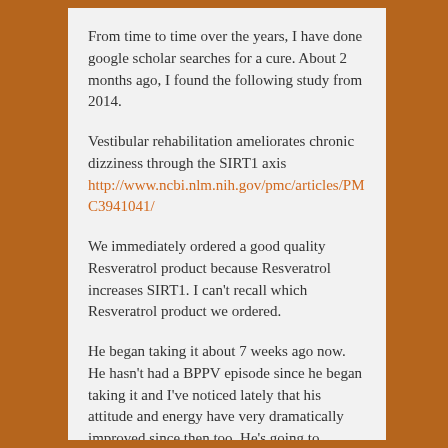From time to time over the years, I have done google scholar searches for a cure. About 2 months ago, I found the following study from 2014.
Vestibular rehabilitation ameliorates chronic dizziness through the SIRT1 axis
http://www.ncbi.nlm.nih.gov/pmc/articles/PMC3941041/
We immediately ordered a good quality Resveratrol product because Resveratrol increases SIRT1. I can’t recall which Resveratrol product we ordered.
He began taking it about 7 weeks ago now. He hasn’t had a BPPV episode since he began taking it and I’ve noticed lately that his attitude and energy have very dramatically improved since then too. He’s going to increase the Resveratrol dose to see what happens. He was up on a ladder in the garage a few days ago fixing the auto